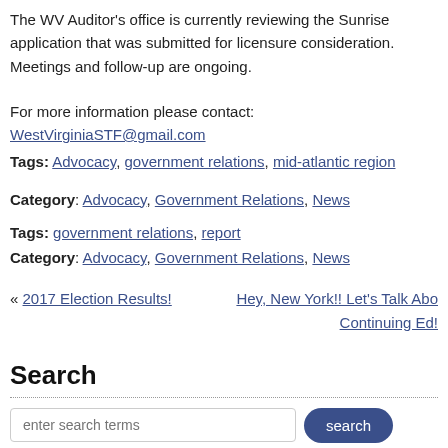The WV Auditor's office is currently reviewing the Sunrise application that was submitted for licensure consideration. Meetings and follow-up are ongoing.
For more information please contact: WestVirginiaSTF@gmail.com
Tags: Advocacy, government relations, mid-atlantic region
Category: Advocacy, Government Relations, News
Tags: government relations, report
Category: Advocacy, Government Relations, News
« 2017 Election Results!    Hey, New York!! Let's Talk About Continuing Ed!
Search
Donate